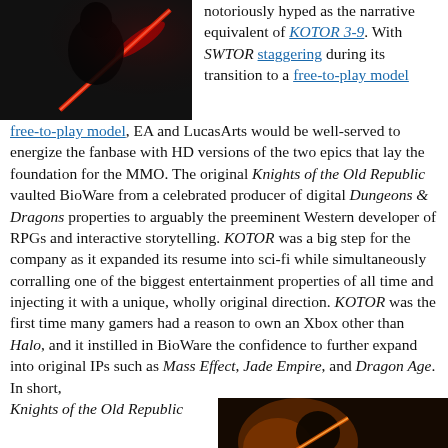[Figure (photo): Dark dramatic image with red lightsaber glow, figure in dark clothing]
notoriously hyped as the narrative equivalent of KOTOR 3-9. With SWTOR staggering during its transition to a free-to-play model, EA and LucasArts would be well-served to energize the fanbase with HD versions of the two epics that lay the foundation for the MMO. The original Knights of the Old Republic vaulted BioWare from a celebrated producer of digital Dungeons & Dragons properties to arguably the preeminent Western developer of RPGs and interactive storytelling. KOTOR was a big step for the company as it expanded its resume into sci-fi while simultaneously corralling one of the biggest entertainment properties of all time and injecting it with a unique, wholly original direction. KOTOR was the first time many gamers had a reason to own an Xbox other than Halo, and it instilled in BioWare the confidence to further expand into original IPs such as Mass Effect, Jade Empire, and Dragon Age. In short, Knights of the Old Republic
[Figure (photo): Dark image with orange/red glow, appears to be a character or scene from Star Wars]